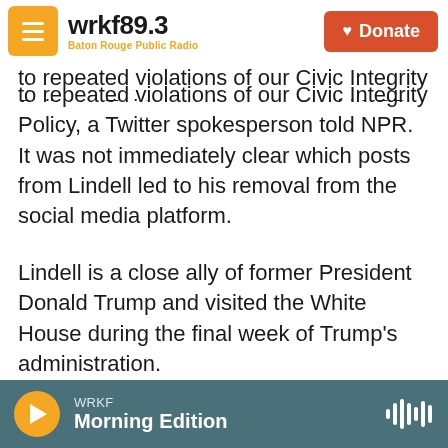wrkf89.3 Baton Rouge Public Radio | Donate
to repeated violations of our Civic Integrity Policy, a Twitter spokesperson told NPR. It was not immediately clear which posts from Lindell led to his removal from the social media platform.
Lindell is a close ally of former President Donald Trump and visited the White House during the final week of Trump's administration.
[Figure (photo): A man in a dark suit standing outside what appears to be the White House, with white columns/windows visible in the background.]
WRKF Morning Edition